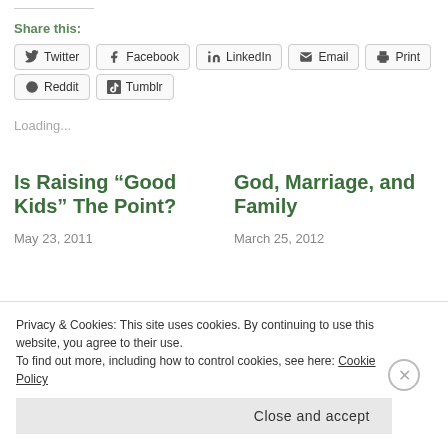Share this:
Twitter
Facebook
LinkedIn
Email
Print
Reddit
Tumblr
Loading...
Is Raising “Good Kids” The Point?
May 23, 2011
God, Marriage, and Family
March 25, 2012
Privacy & Cookies: This site uses cookies. By continuing to use this website, you agree to their use.
To find out more, including how to control cookies, see here: Cookie Policy
Close and accept